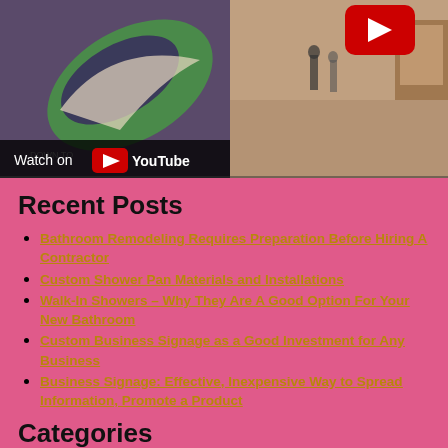[Figure (screenshot): YouTube video thumbnail showing a mall or store interior scene with a green swoosh logo sign on the left and a YouTube play button overlay in the top right. At the bottom left there is a 'Watch on YouTube' overlay bar.]
Recent Posts
Bathroom Remodeling Requires Preparation Before Hiring A Contractor
Custom Shower Pan Materials and Installations
Walk-In Showers – Why They Are A Good Option For Your New Bathroom
Custom Business Signage as a Good Investment for Any Business
Business Signage: Effective, Inexpensive Way to Spread Information, Promote a Product
Categories